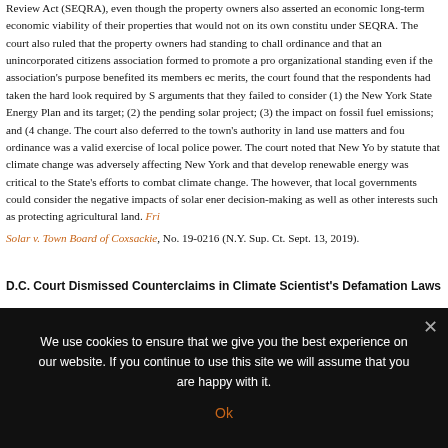Review Act (SEQRA), even though the property owners also asserted an economic long-term economic viability of their properties that would not on its own constitu under SEQRA. The court also ruled that the property owners had standing to chall ordinance and that an unincorporated citizens association formed to promote a pro organizational standing even if the association's purpose benefited its members ec merits, the court found that the respondents had taken the hard look required by S arguments that they failed to consider (1) the New York State Energy Plan and its target; (2) the pending solar project; (3) the impact on fossil fuel emissions; and (4 change. The court also deferred to the town's authority in land use matters and fou ordinance was a valid exercise of local police power. The court noted that New Yo by statute that climate change was adversely affecting New York and that develop renewable energy was critical to the State's efforts to combat climate change. The however, that local governments could consider the negative impacts of solar ener decision-making as well as other interests such as protecting agricultural land. Friemann Solar v. Town Board of Coxsackie, No. 19-0216 (N.Y. Sup. Ct. Sept. 13, 2019).
D.C. Court Dismissed Counterclaims in Climate Scientist's Defamation Lawsu
We use cookies to ensure that we give you the best experience on our website. If you continue to use this site we will assume that you are happy with it.
Ok